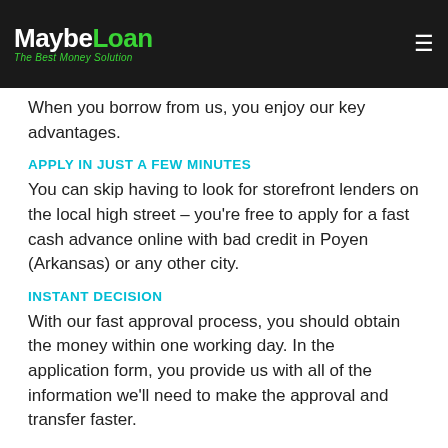MaybeLoan - The Best Money Solution
When you borrow from us, you enjoy our key advantages.
APPLY IN JUST A FEW MINUTES
You can skip having to look for storefront lenders on the local high street – you're free to apply for a fast cash advance online with bad credit in Poyen (Arkansas) or any other city.
INSTANT DECISION
With our fast approval process, you should obtain the money within one working day. In the application form, you provide us with all of the information we'll need to make the approval and transfer faster.
Online Cash Advance Loan